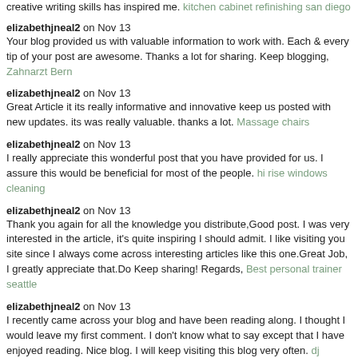creative writing skills has inspired me. kitchen cabinet refinishing san diego
elizabethjneal2 on Nov 13
Your blog provided us with valuable information to work with. Each & every tip of your post are awesome. Thanks a lot for sharing. Keep blogging, Zahnarzt Bern
elizabethjneal2 on Nov 13
Great Article it its really informative and innovative keep us posted with new updates. its was really valuable. thanks a lot. Massage chairs
elizabethjneal2 on Nov 13
I really appreciate this wonderful post that you have provided for us. I assure this would be beneficial for most of the people. hi rise windows cleaning
elizabethjneal2 on Nov 13
Thank you again for all the knowledge you distribute,Good post. I was very interested in the article, it's quite inspiring I should admit. I like visiting you site since I always come across interesting articles like this one.Great Job, I greatly appreciate that.Do Keep sharing! Regards, Best personal trainer seattle
elizabethjneal2 on Nov 13
I recently came across your blog and have been reading along. I thought I would leave my first comment. I don't know what to say except that I have enjoyed reading. Nice blog. I will keep visiting this blog very often. dj melbourne
elizabethjneal2 on Nov 13
Thank you very much for this useful article. I like it. hotels for genealogy research